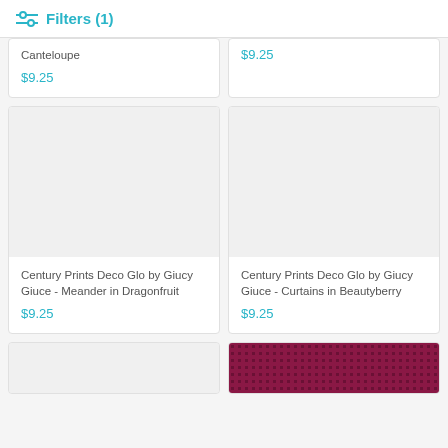Filters (1)
Canteloupe
$9.25
$9.25
[Figure (photo): Product image placeholder for Century Prints Deco Glo by Giucy Giuce - Meander in Dragonfruit]
Century Prints Deco Glo by Giucy Giuce - Meander in Dragonfruit
$9.25
[Figure (photo): Product image placeholder for Century Prints Deco Glo by Giucy Giuce - Curtains in Beautyberry]
Century Prints Deco Glo by Giucy Giuce - Curtains in Beautyberry
$9.25
[Figure (photo): Partial product card placeholder at bottom left]
[Figure (photo): Partial product card at bottom right showing pink/magenta fabric with dot pattern]